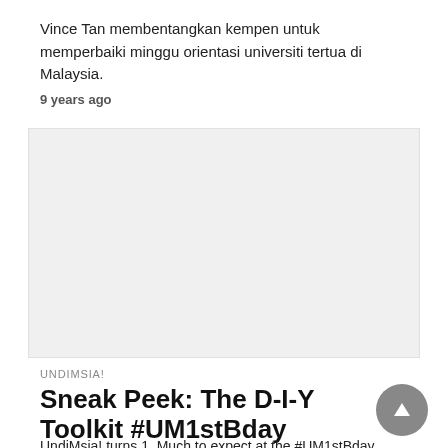Vince Tan membentangkan kempen untuk memperbaiki minggu orientasi universiti tertua di Malaysia.
9 years ago
[Figure (photo): Light grey placeholder image rectangle]
UNDIMSIA!
Sneak Peek: The D-I-Y Toolkit #UM1stBday
UndiMsia! turns 1. Much to expect at the #UM1stBday event.